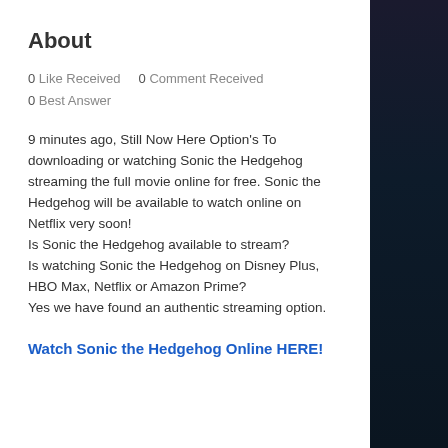About
0 Like Received   0 Comment Received
0 Best Answer
9 minutes ago, Still Now Here Option's To downloading or watching Sonic the Hedgehog streaming the full movie online for free. Sonic the Hedgehog will be available to watch online on Netflix very soon!
Is Sonic the Hedgehog available to stream?
Is watching Sonic the Hedgehog on Disney Plus, HBO Max, Netflix or Amazon Prime?
Yes we have found an authentic streaming option.
Watch Sonic the Hedgehog Online HERE!